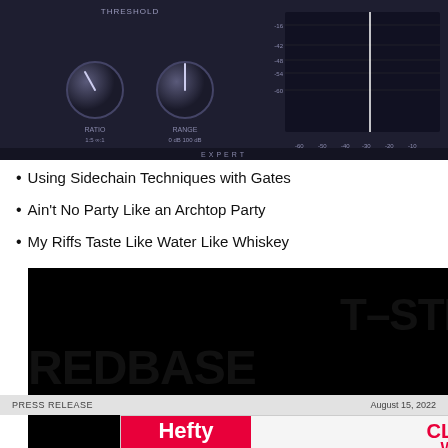[Figure (screenshot): Audio plugin compressor/gate UI showing knobs for Threshold, Ratio, Range, Attack, Knee, Release, Lookahead with a VU meter display]
Using Sidechain Techniques with Gates
Ain't No Party Like an Archtop Party
My Riffs Taste Like Water Like Whiskey
[Figure (screenshot): Video player with black background showing a guitar or instrument part with a play button overlay]
T-STR
REDBASE
PRESS RELEASE
August 15, 2022
[Figure (screenshot): Hefty Slider bags advertisement: CLOSE WITH CONFIDENCE]